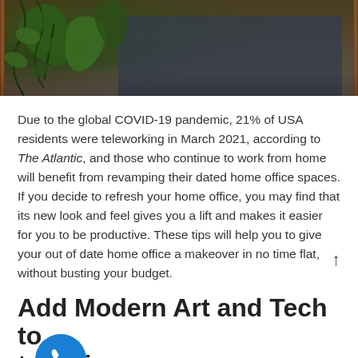[Figure (photo): Top portion of a photo showing indoor plants (ivy/vines) with dark wooden frame elements and a grey-blue background wall]
Due to the global COVID-19 pandemic, 21% of USA residents were teleworking in March 2021, according to The Atlantic, and those who continue to work from home will benefit from revamping their dated home office spaces. If you decide to refresh your home office, you may find that its new look and feel gives you a lift and makes it easier for you to be productive. These tips will help you to give your out of date home office a makeover in no time flat, without busting your budget.
Add Modern Art and Tech to the Mix
One quick fix for a dated workspace is modern art, and it